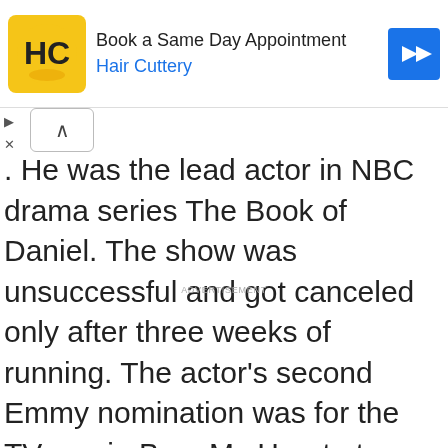[Figure (screenshot): Advertisement banner for Hair Cuttery with logo, 'Book a Same Day Appointment' text, brand name in blue, and a blue directional arrow icon]
. He was the lead actor in NBC drama series The Book of Daniel. The show was unsuccessful and got canceled only after three weeks of running. The actor's second Emmy nomination was for the TV movie Bury My Heart at Wounded Knee. Currently, Quinn is co-starring in the popular CBS TV series Elementary.
ADVERTISEMENT